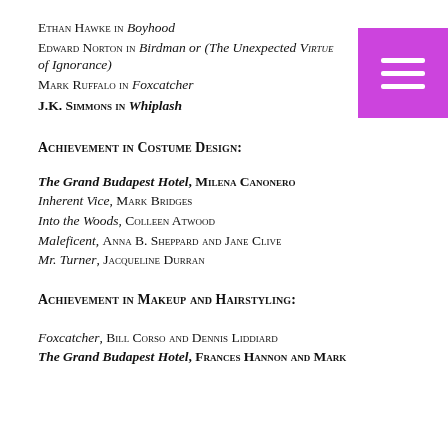Ethan Hawke in Boyhood
Edward Norton in Birdman or (The Unexpected Virtue of Ignorance)
Mark Ruffalo in Foxcatcher
J.K. Simmons in Whiplash
Achievement in Costume Design:
The Grand Budapest Hotel, Milena Canonero
Inherent Vice, Mark Bridges
Into the Woods, Colleen Atwood
Maleficent, Anna B. Sheppard and Jane Clive
Mr. Turner, Jacqueline Durran
Achievement in Makeup and Hairstyling:
Foxcatcher, Bill Corso and Dennis Liddiard
The Grand Budapest Hotel, Frances Hannon and Mark